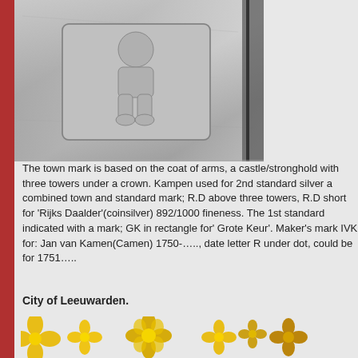[Figure (photo): Close-up photograph of a silver hallmark/town mark stamped into silver metal, showing a small figure resembling a person or infant in a rectangular stamp.]
The town mark is based on the coat of arms, a castle/stronghold with three towers under a crown. Kampen used for 2nd standard silver a combined town and standard mark; R.D above three towers, R.D short for 'Rijks Daalder'(coinsilver) 892/1000 fineness. The 1st standard indicated with a mark; GK in rectangle for' Grote Keur'. Maker's mark IVK for: Jan van Kamen(Camen) 1750-….., date letter R under dot, could be for 1751…..
City of Leeuwarden.
[Figure (photo): Golden/yellow decorative flower-shaped hallmarks or symbols, shown in a row — various sizes of cross/flower shaped gold marks.]